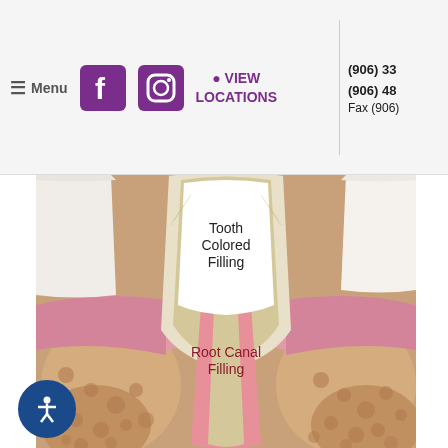≡ Menu  [Facebook icon]  [Instagram icon]  📍 VIEW LOCATIONS  |  (906) 33...  (906) 48...  Fax (906)...
[Figure (illustration): Cross-sectional anatomical illustration of a tooth after root canal treatment, showing 'Tooth Colored Filling' in the crown area (white) and 'Root Canal Filling' in the root area (pink/salmon colored), surrounded by bone, gum tissue, and adjacent teeth.]